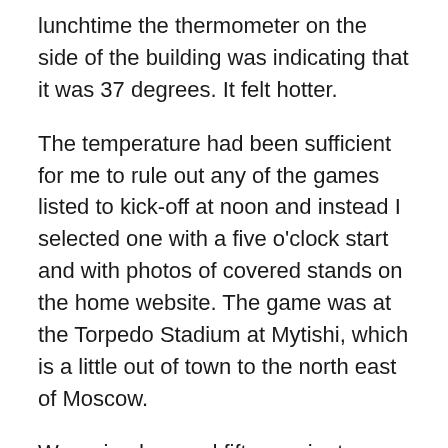lunchtime the thermometer on the side of the building was indicating that it was 37 degrees. It felt hotter.
The temperature had been sufficient for me to rule out any of the games listed to kick-off at noon and instead I selected one with a five o'clock start and with photos of covered stands on the home website. The game was at the Torpedo Stadium at Mytishi, which is a little out of town to the north east of Moscow.
We arrived a good fifteen minutes before the scheduled start despite having to travel through central Moscow. The fixture was in the fourth-tier Moskovskaya Oblast Liga A, which I always think of as being for teams on the outskirts of Moscow, although it seems odd to group the central teams together and then put all those on the edges in their own separate league. Maybe North and South would be a